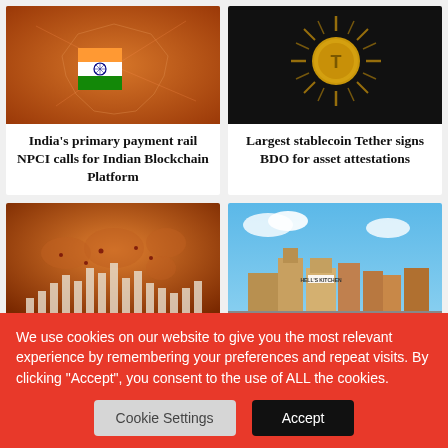[Figure (photo): Map of India with blockchain network overlay, orange/red tone]
India's primary payment rail NPCI calls for Indian Blockchain Platform
[Figure (photo): Tether coin gold logo on black background with sun rays]
Largest stablecoin Tether signs BDO for asset attestations
[Figure (photo): Global financial market bar chart on world map, warm orange tones]
OCC joins Baton Systems' DLT collateral management
[Figure (photo): Gordon Ramsay's Hell's Kitchen restaurant building 3D render in The Sandbox metaverse]
Gordon Ramsay's Hells Kitchen joins The Sandbox
We use cookies on our website to give you the most relevant experience by remembering your preferences and repeat visits. By clicking “Accept”, you consent to the use of ALL the cookies.